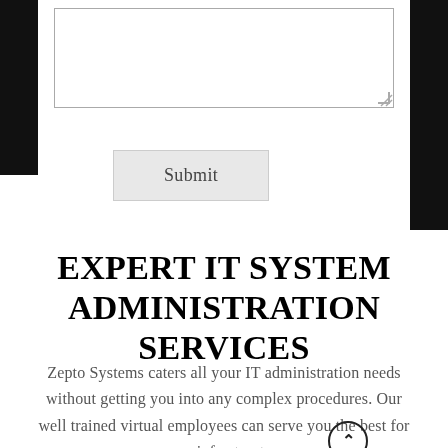[Figure (screenshot): A textarea input form element with a resize handle at the bottom right corner, shown partially at the top of the page.]
[Figure (screenshot): A Submit button rendered as a grey rectangular UI button element.]
EXPERT IT SYSTEM ADMINISTRATION SERVICES
Zepto Systems caters all your IT administration needs without getting you into any complex procedures. Our well trained virtual employees can serve you the best for your infrastructure